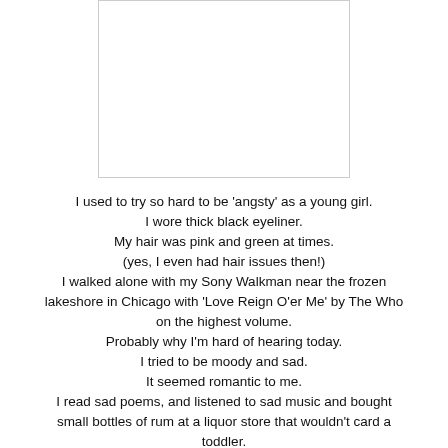[Figure (other): Blank white rectangle with light gray border, representing an image placeholder]
I used to try so hard to be 'angsty' as a young girl.
I wore thick black eyeliner.
My hair was pink and green at times.
(yes, I even had hair issues then!)
I walked alone with my Sony Walkman near the frozen lakeshore in Chicago with 'Love Reign O'er Me' by The Who on the highest volume.
Probably why I'm hard of hearing today.
I tried to be moody and sad.
It seemed romantic to me.
I read sad poems, and listened to sad music and bought small bottles of rum at a liquor store that wouldn't card a toddler.